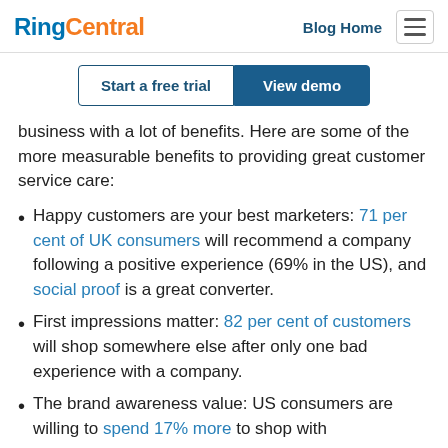RingCentral | Blog Home
Start a free trial | View demo
business with a lot of benefits. Here are some of the more measurable benefits to providing great customer service care:
Happy customers are your best marketers: 71 per cent of UK consumers will recommend a company following a positive experience (69% in the US), and social proof is a great converter.
First impressions matter: 82 per cent of customers will shop somewhere else after only one bad experience with a company.
The brand awareness value: US consumers are willing to spend 17% more to shop with